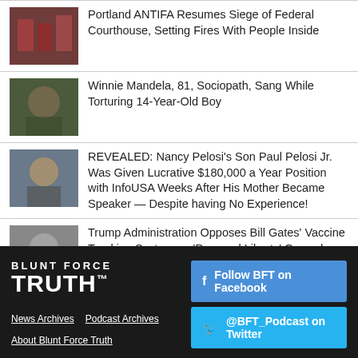Portland ANTIFA Resumes Siege of Federal Courthouse, Setting Fires With People Inside
Winnie Mandela, 81, Sociopath, Sang While Torturing 14-Year-Old Boy
REVEALED: Nancy Pelosi's Son Paul Pelosi Jr. Was Given Lucrative $180,000 a Year Position with InfoUSA Weeks After His Mother Became Speaker — Despite having No Experience!
Trump Administration Opposes Bill Gates' Vaccine Tracking System on 'Personal Liberty' Grounds
BLUNT FORCE TRUTH | Follow BFT on Facebook | @BFT_Podcast on Twitter | News Archives | Podcast Archives | About Blunt Force Truth